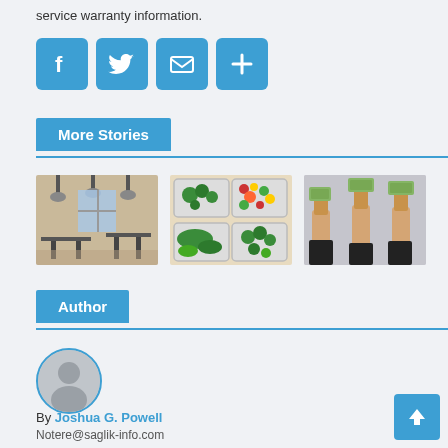service warranty information.
[Figure (infographic): Social sharing buttons: Facebook, Twitter, Email, and a plus/more button, each in blue rounded squares]
More Stories
[Figure (photo): Three thumbnail images: a cafe/restaurant interior, food meal prep containers with vegetables, and hands holding money/cash]
Author
[Figure (photo): Circular avatar placeholder with generic person silhouette icon, outlined in light blue]
By Joshua G. Powell
Notere@saglik-info.com
[Figure (infographic): Back to top button arrow pointing up, blue square button in bottom right corner]